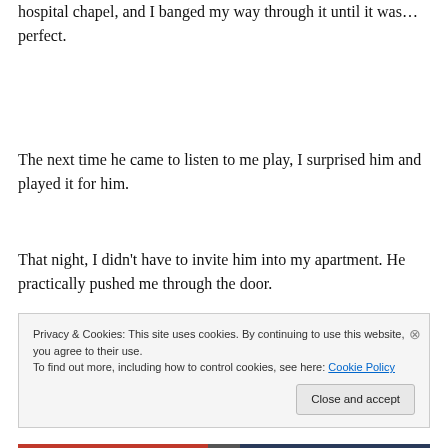hospital chapel, and I banged my way through it until it was…perfect.
The next time he came to listen to me play, I surprised him and played it for him.
That night, I didn't have to invite him into my apartment. He practically pushed me through the door.
Privacy & Cookies: This site uses cookies. By continuing to use this website, you agree to their use.
To find out more, including how to control cookies, see here: Cookie Policy